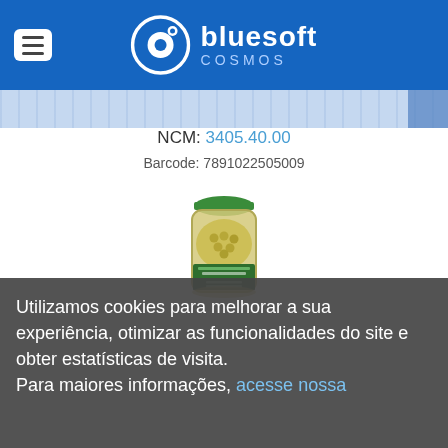bluesoft COSMOS
NCM: 3405.40.00
Barcode: 7891022505009
[Figure (photo): Glass jar of preserved peas with green lid and label showing vegetables]
Utilizamos cookies para melhorar a sua experiência, otimizar as funcionalidades do site e obter estatísticas de visita. Para maiores informações, acesse nossa